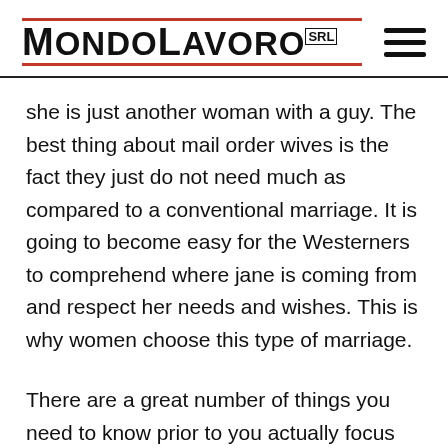MondoLavoro srl
she is just another woman with a guy. The best thing about mail order wives is the fact they just do not need much as compared to a conventional marriage. It is going to become easy for the Westerners to comprehend where jane is coming from and respect her needs and wishes. This is why women choose this type of marriage.
There are a great number of things you need to know prior to you actually focus on mail purchase. You need to be very sure about your partner's